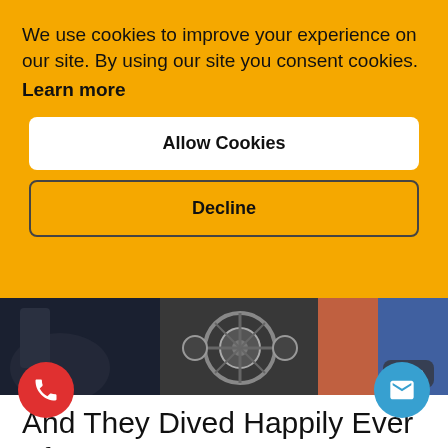We use cookies to improve your experience on our site. By using our site you consent cookies. Learn more
Allow Cookies
Decline
[Figure (photo): Partial view of motorcycle parts, engine components, and a person in orange and blue clothing with a comment badge showing 0]
And They Dived Happily Ever After
th, 2022
Being a woman in the male-dominated world of